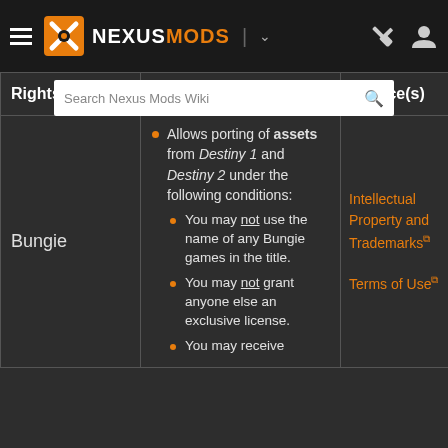NEXUSMODS
| Rights holder | Details | Source(s) |
| --- | --- | --- |
| Bungie | Allows porting of assets from Destiny 1 and Destiny 2 under the following conditions:
• You may not use the name of any Bungie games in the title.
• You may not grant anyone else an exclusive license.
• You may receive | Intellectual Property and Trademarks
Terms of Use |